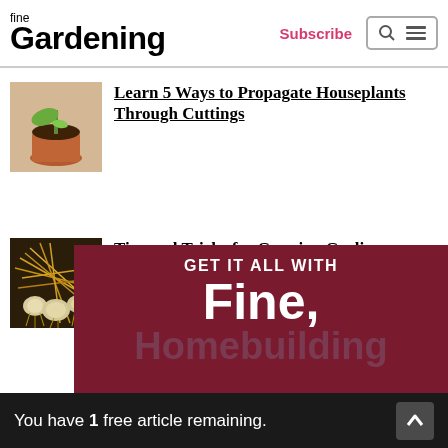fine Gardening | Subscribe
[Figure (photo): Small green plant sprout in a terracotta pot on a wooden surface]
Learn 5 Ways to Propagate Houseplants Through Cuttings
[Figure (photo): Harvested garlic bulbs with roots and straw, displayed in a tray]
Tips and Tricks for Growing Garlic
[Figure (infographic): Dark red promotional banner: GET IT ALL WITH Fine Homebuilding]
You have 1 free article remaining.